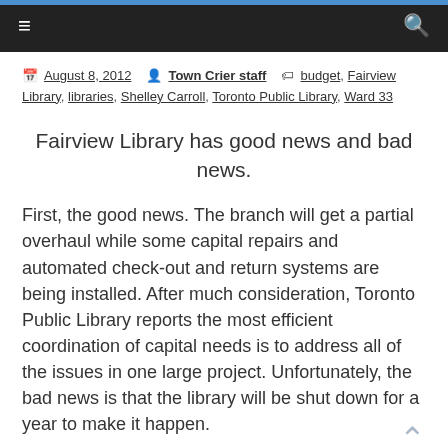≡  🔍
August 8, 2012  Town Crier staff  budget, Fairview Library, libraries, Shelley Carroll, Toronto Public Library, Ward 33
Fairview Library has good news and bad news.
First, the good news. The branch will get a partial overhaul while some capital repairs and automated check-out and return systems are being installed. After much consideration, Toronto Public Library reports the most efficient coordination of capital needs is to address all of the issues in one large project. Unfortunately, the bad news is that the library will be shut down for a year to make it happen.
At a recent town hall in Henry Farm, I was asked: